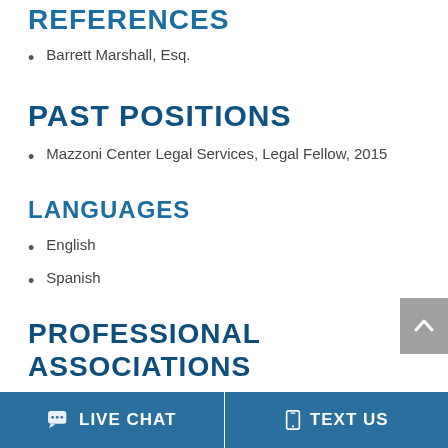REFERENCES
Barrett Marshall, Esq.
PAST POSITIONS
Mazzoni Center Legal Services, Legal Fellow, 2015
LANGUAGES
English
Spanish
PROFESSIONAL ASSOCIATIONS
LIVE CHAT   TEXT US